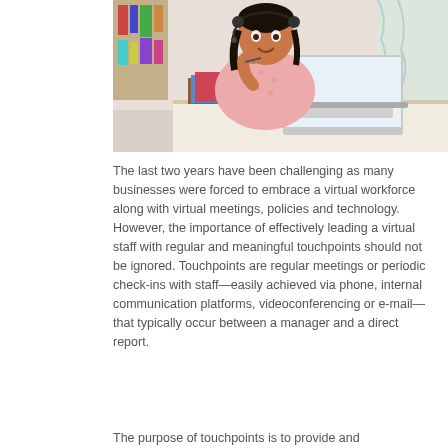[Figure (photo): Woman wearing a headset and pink patterned top, sitting at a desk with a laptop, books, and papers in a home office setting, smiling.]
The last two years have been challenging as many businesses were forced to embrace a virtual workforce along with virtual meetings, policies and technology. However, the importance of effectively leading a virtual staff with regular and meaningful touchpoints should not be ignored. Touchpoints are regular meetings or periodic check-ins with staff—easily achieved via phone, internal communication platforms, videoconferencing or e-mail—that typically occur between a manager and a direct report.
The purpose of touchpoints is to provide and